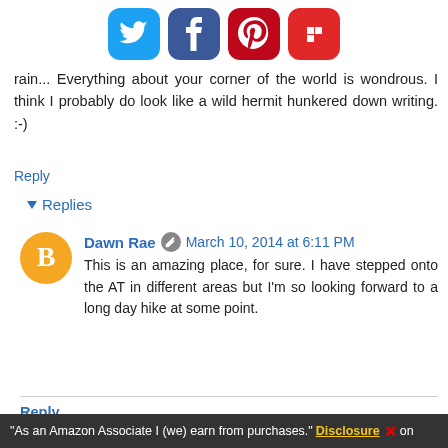[Figure (infographic): Social media sharing icons: Twitter (blue bird), Facebook (blue f), Pinterest (red P), Flipboard (red F) in rounded square buttons]
...wondrous. I think I probably do look like a wild hermit hunkered down writing. :-)
Reply
▾ Replies
Dawn Rae ✎ March 10, 2014 at 6:11 PM
This is an amazing place, for sure. I have stepped onto the AT in different areas but I'm so looking forward to a long day hike at some point.
Reply
Ruth Cox aka abitosunshine March 10, 2014 at 11:34 AM
Being a recluse I can certainly identify with your hermit...
"As an Amazon Associate I (we) earn from purchases." Disclosure ✕ on